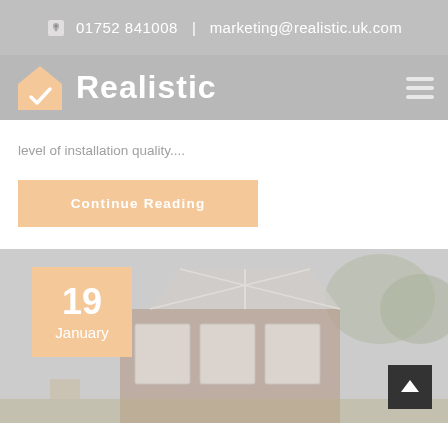01752 841008  |  marketing@realistic.uk.com
[Figure (logo): Realistic company logo with house icon and text 'Realistic']
level of installation quality....
Continue Reading
[Figure (photo): Photo of a conservatory extension on a brick house, with date badge showing 19 January]